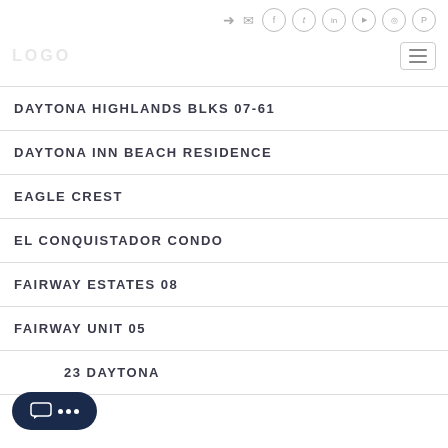Social and navigation icons header
DAYTONA HIGHLANDS BLKS 07-61
DAYTONA INN BEACH RESIDENCE
EAGLE CREST
EL CONQUISTADOR CONDO
FAIRWAY ESTATES 08
FAIRWAY UNIT 05
23 DAYTONA